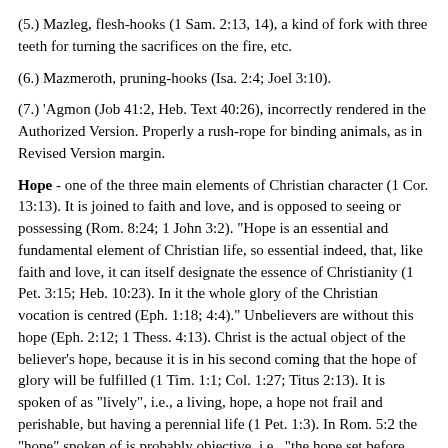(5.) Mazleg, flesh-hooks (1 Sam. 2:13, 14), a kind of fork with three teeth for turning the sacrifices on the fire, etc.
(6.) Mazmeroth, pruning-hooks (Isa. 2:4; Joel 3:10).
(7.) 'Agmon (Job 41:2, Heb. Text 40:26), incorrectly rendered in the Authorized Version. Properly a rush-rope for binding animals, as in Revised Version margin.
Hope - one of the three main elements of Christian character (1 Cor. 13:13). It is joined to faith and love, and is opposed to seeing or possessing (Rom. 8:24; 1 John 3:2). "Hope is an essential and fundamental element of Christian life, so essential indeed, that, like faith and love, it can itself designate the essence of Christianity (1 Pet. 3:15; Heb. 10:23). In it the whole glory of the Christian vocation is centred (Eph. 1:18; 4:4)." Unbelievers are without this hope (Eph. 2:12; 1 Thess. 4:13). Christ is the actual object of the believer's hope, because it is in his second coming that the hope of glory will be fulfilled (1 Tim. 1:1; Col. 1:27; Titus 2:13). It is spoken of as "lively", i.e., a living, hope, a hope not frail and perishable, but having a perennial life (1 Pet. 1:3). In Rom. 5:2 the "hope" spoken of is probably objective, i.e., "the hope set before us," namely, eternal life (comp. 12:12). In 1 John 3:3 the expression "hope in him" ought rather to be, as in the Revised Version, "hope on him," i.e., a hope based on God.